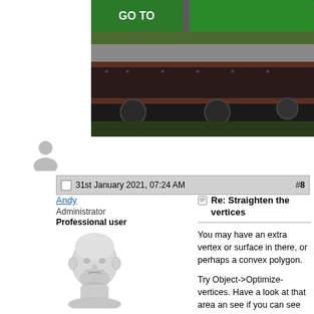[Figure (screenshot): Game screenshot showing a train or vehicle with green signs at top, dark body with wheels, on terrain. Left portion is white blank area.]
[Figure (illustration): Generic grey user/avatar silhouette icon]
31st January 2021, 07:24 AM   #8
Andy
Administrator
Professional user
[Figure (illustration): 3D rendered head/bust illustration of a bald man with a beard, white/grey material]
Join Date: Jun 2003
Posts: 4,452
Re: Straighten the vertices

You may have an extra vertex or surface in there, or perhaps a convex polygon.

Try Object->Optimize-vertices. Have a look at that area an see if you can see any extra vertices. Triangulating that surface may help.